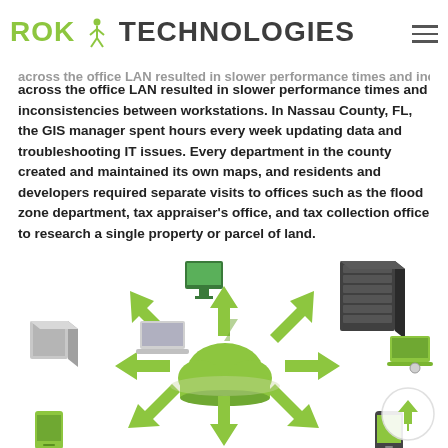ROK TECHNOLOGIES
across the office LAN resulted in slower performance times and inconsistencies between workstations. In Nassau County, FL, the GIS manager spent hours every week updating data and troubleshooting IT issues. Every department in the county created and maintained its own maps, and residents and developers required separate visits to offices such as the flood zone department, tax appraiser's office, and tax collection office to research a single property or parcel of land.
[Figure (illustration): 3D illustration of a cloud computing network with green arrows pointing in multiple directions from a central green cloud, connected to various devices including servers, computers, laptops, tablets, and mobile phones.]